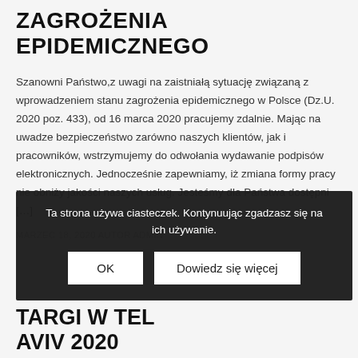ZAGROŻENIA EPIDEMICZNEGO
Szanowni Państwo,z uwagi na zaistniałą sytuację związaną z wprowadzeniem stanu zagrożenia epidemicznego w Polsce (Dz.U. 2020 poz. 433), od 16 marca 2020 pracujemy zdalnie. Mając na uwadze bezpieczeństwo zarówno naszych klientów, jak i pracowników, wstrzymujemy do odwołania wydawanie podpisów elektronicznych. Jednocześnie zapewniamy, iż zmiana formy pracy nie obniży jakości naszych usług. Jesteśmy dla Państwa dostępni […]
MARZEC 18, 2020 AUTOR ADMIN
Ta strona używa ciasteczek. Kontynuując zgadzasz się na ich używanie.
OK
Dowiedz się więcej
TARGI W TEL AVIV 2020